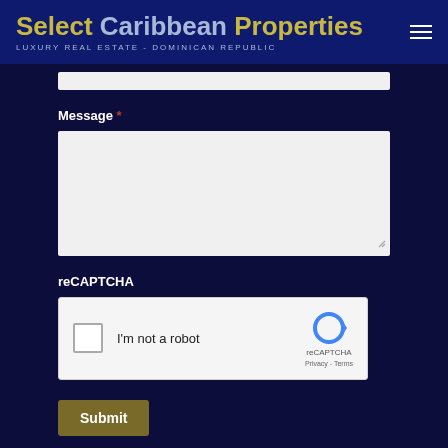Select Caribbean Properties — LUXURY REAL ESTATE - DOMINICAN REPUBLIC
(input field)
Message *
(textarea field)
reCAPTCHA
[Figure (screenshot): reCAPTCHA widget with checkbox 'I'm not a robot', reCAPTCHA logo and Privacy - Terms links]
Submit